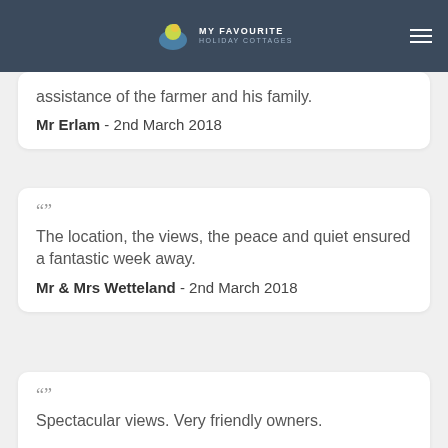MY FAVOURITE HOLIDAY COTTAGES
assistance of the farmer and his family.
Mr Erlam  -  2nd March 2018
The location, the views, the peace and quiet ensured a fantastic week away.
Mr & Mrs Wetteland  -  2nd March 2018
Spectacular views. Very friendly owners.